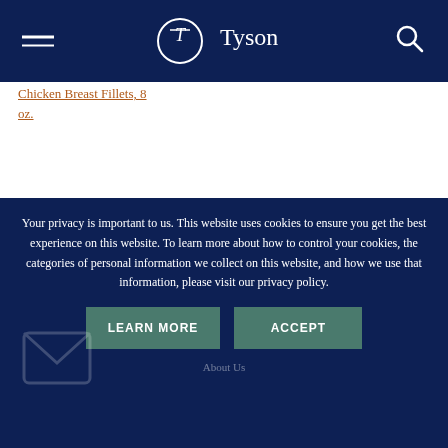Tyson — navigation header with hamburger menu and search icon
Chicken Breast Fillets, 8 oz.
[Figure (logo): Tyson logo: circle with stylized T inside, 'Tyson' text below in navy]
Your privacy is important to us. This website uses cookies to ensure you get the best experience on this website. To learn more about how to control your cookies, the categories of personal information we collect on this website, and how we use that information, please visit our privacy policy.
LEARN MORE
ACCEPT
About Us